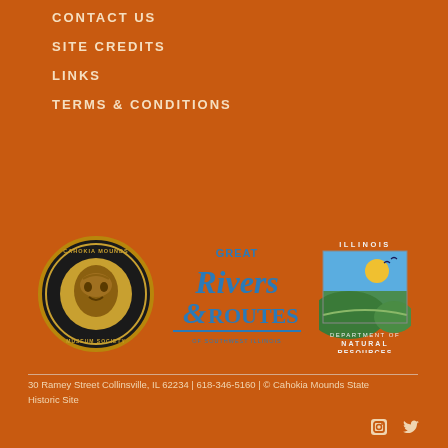CONTACT US
SITE CREDITS
LINKS
TERMS & CONDITIONS
[Figure (logo): Cahokia Mounds Museum Society circular seal logo]
[Figure (logo): Great Rivers & Routes of Southwest Illinois logo]
[Figure (logo): Illinois Department of Natural Resources logo]
30 Ramey Street Collinsville, IL 62234 | 618-346-5160 | © Cahokia Mounds State Historic Site